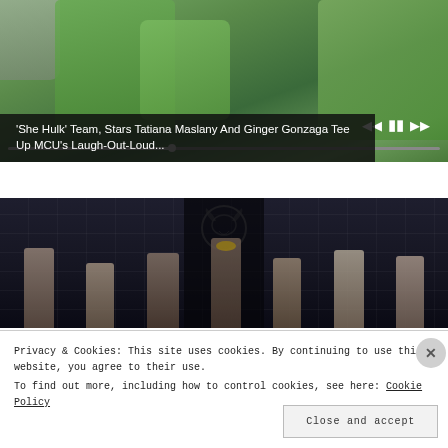[Figure (screenshot): Video player showing She-Hulk scene with green-skinned characters hands visible, with playback controls and progress bar at bottom]
'She Hulk' Team, Stars Tatiana Maslany And Ginger Gonzaga Tee Up MCU's Laugh-Out-Loud...
[Figure (photo): Group of actors in medieval fantasy costumes standing in front of a stone wall with a dragon emblem (Targaryen sigil) from House of the Dragon]
Privacy & Cookies: This site uses cookies. By continuing to use this website, you agree to their use. To find out more, including how to control cookies, see here: Cookie Policy
Close and accept